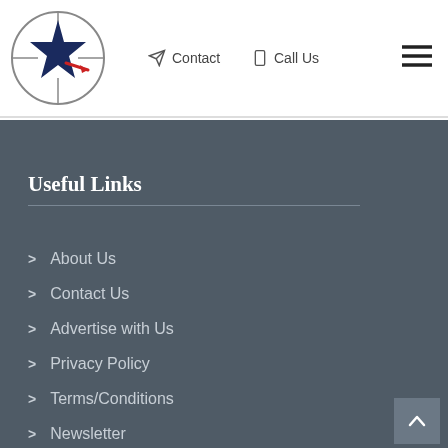[Figure (logo): Star logo with crosshair circle, navy star and red bullet/dart graphic]
Contact  Call Us
Useful Links
About Us
Contact Us
Advertise with Us
Privacy Policy
Terms/Conditions
Newsletter